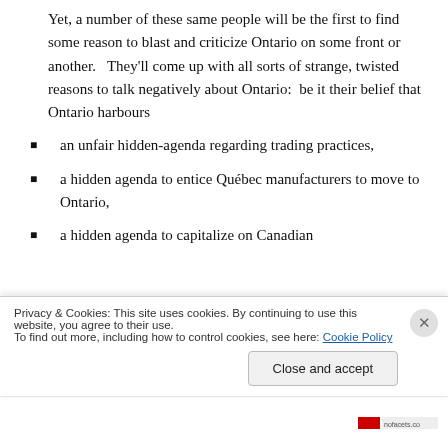Yet, a number of these same people will be the first to find some reason to blast and criticize Ontario on some front or another.   They'll come up with all sorts of strange, twisted reasons to talk negatively about Ontario:  be it their belief that Ontario harbours
an unfair hidden-agenda regarding trading practices,
a hidden agenda to entice Québec manufacturers to move to Ontario,
a hidden agenda to capitalize on Canadian Constitution laws leaving to the detriment of
Privacy & Cookies: This site uses cookies. By continuing to use this website, you agree to their use.
To find out more, including how to control cookies, see here: Cookie Policy
Close and accept